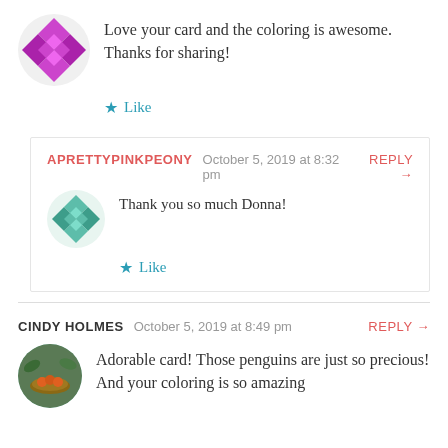Love your card and the coloring is awesome. Thanks for sharing!
Like
APRETTYPINKPEONY  October 5, 2019 at 8:32 pm  REPLY →
Thank you so much Donna!
Like
CINDY HOLMES  October 5, 2019 at 8:49 pm  REPLY →
Adorable card! Those penguins are just so precious! And your coloring is so amazing